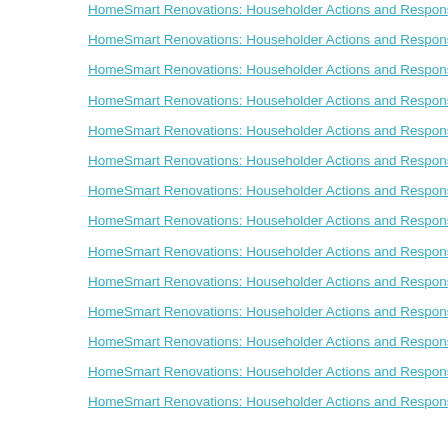HomeSmart Renovations: Householder Actions and Responses to Dwelling
HomeSmart Renovations: Householder Actions and Responses to Dwelling
HomeSmart Renovations: Householder Actions and Responses to Dwelling
HomeSmart Renovations: Householder Actions and Responses to Dwelling
HomeSmart Renovations: Householder Actions and Responses to Dwelling
HomeSmart Renovations: Householder Actions and Responses to Dwelling
HomeSmart Renovations: Householder Actions and Responses to Dwelling
HomeSmart Renovations: Householder Actions and Responses to Dwelling
HomeSmart Renovations: Householder Actions and Responses to Dwelling
HomeSmart Renovations: Householder Actions and Responses to Dwelling
HomeSmart Renovations: Householder Actions and Responses to Dwelling
HomeSmart Renovations: Householder Actions and Responses to Dwelling
HomeSmart Renovations: Householder Actions and Responses to Dwelling
HomeSmart Renovations: Householder Actions and Responses to Dwelling